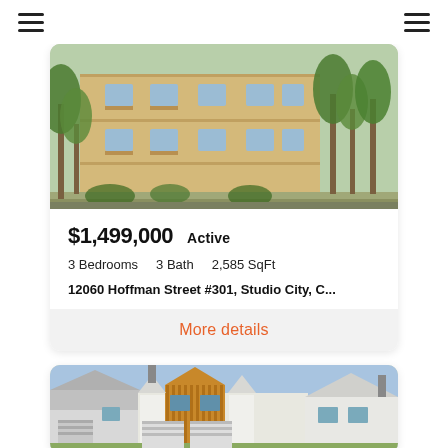Navigation header with hamburger menus on both sides
[Figure (photo): Exterior photo of a multi-story apartment building with palm trees and greenery in front, beige/tan stucco facade, multiple balconies, sunny day]
$1,499,000   Active
3 Bedrooms   3 Bath   2,585 SqFt
12060 Hoffman Street #301, Studio City, C...
More details
[Figure (photo): Exterior photo of a modern two-story home with wood and white exterior, multiple gables, garage, landscaping, blue sky]